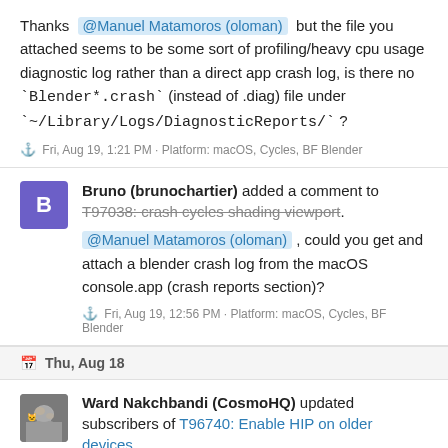Thanks @Manuel Matamoros (oloman) but the file you attached seems to be some sort of profiling/heavy cpu usage diagnostic log rather than a direct app crash log, is there no `Blender*.crash` (instead of .diag) file under `~/Library/Logs/DiagnosticReports/` ?
Fri, Aug 19, 1:21 PM · Platform: macOS, Cycles, BF Blender
Bruno (brunochartier) added a comment to T97038: crash cycles shading viewport.
@Manuel Matamoros (oloman) , could you get and attach a blender crash log from the macOS console.app (crash reports section)?
Fri, Aug 19, 12:56 PM · Platform: macOS, Cycles, BF Blender
Thu, Aug 18
Ward Nakchbandi (CosmoHQ) updated subscribers of T96740: Enable HIP on older devices.
In T96740#1328856, @Hannah Ümit (Koterminion) wrote: I have an RX480 8G. Is there a specific driver version that would be